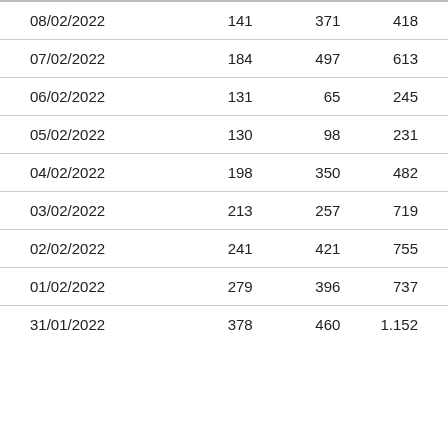| 08/02/2022 | 141 | 371 | 418 |
| 07/02/2022 | 184 | 497 | 613 |
| 06/02/2022 | 131 | 65 | 245 |
| 05/02/2022 | 130 | 98 | 231 |
| 04/02/2022 | 198 | 350 | 482 |
| 03/02/2022 | 213 | 257 | 719 |
| 02/02/2022 | 241 | 421 | 755 |
| 01/02/2022 | 279 | 396 | 737 |
| 31/01/2022 | 378 | 460 | 1.152 |